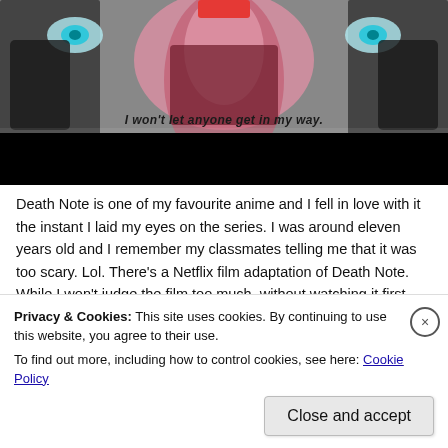[Figure (screenshot): Anime screenshot (Death Note) with pink/dark abstract visuals, subtitle text 'I won't let anyone get in my way.' at bottom, black letterbox bar at bottom]
Death Note is one of my favourite anime and I fell in love with it the instant I laid my eyes on the series. I was around eleven years old and I remember my classmates telling me that it was too scary. Lol. There's a Netflix film adaptation of Death Note. While I won't judge the film too much, without watching it first, Death Note remains...
Privacy & Cookies: This site uses cookies. By continuing to use this website, you agree to their use.
To find out more, including how to control cookies, see here: Cookie Policy
Close and accept